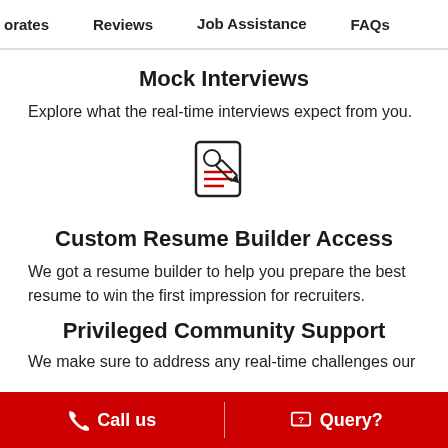orates   Reviews   Job Assistance   FAQs
Mock Interviews
Explore what the real-time interviews expect from you.
[Figure (illustration): Resume builder icon: a document with a person icon and lines representing text, with a pencil overlaid]
Custom Resume Builder Access
We got a resume builder to help you prepare the best resume to win the first impression for recruiters.
Privileged Community Support
We make sure to address any real-time challenges our
Call us   Query?